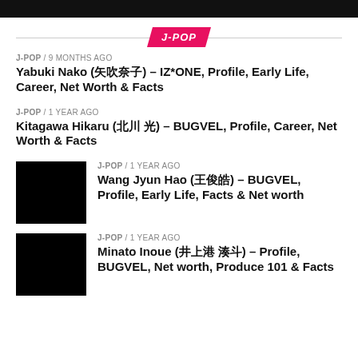J-POP
J-POP
J-POP / 9 months ago
Yabuki Nako (矢吹奈子) – IZ*ONE, Profile, Early Life, Career, Net Worth & Facts
J-POP / 1 year ago
Kitagawa Hikaru (北川光) – BUGVEL, Profile, Career, Net Worth & Facts
[Figure (photo): Black thumbnail image for Wang Jyun Hao article]
J-POP / 1 year ago
Wang Jyun Hao (王俊皓) – BUGVEL, Profile, Early Life, Facts & Net worth
[Figure (photo): Black thumbnail image for Minato Inoue article]
J-POP / 1 year ago
Minato Inoue (井上港 湊斗) – Profile, BUGVEL, Net worth, Produce 101 & Facts